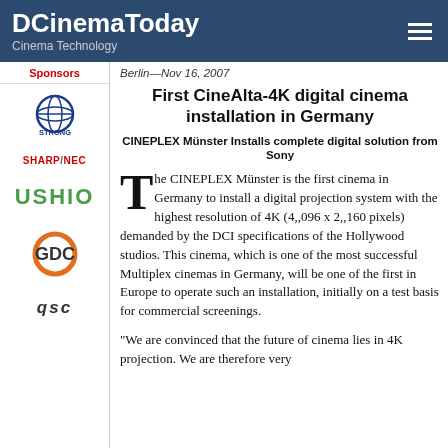DCinemaToday
Cinema Technology
Sponsors
[Figure (logo): STRONG globe logo]
[Figure (logo): SHARP/NEC logo in red]
[Figure (logo): USHIO logo in green]
[Figure (logo): GDC logo with orange ring]
[Figure (logo): QSC logo in dark italic]
Berlin—Nov 16, 2007
First CineAlta-4K digital cinema installation in Germany
CINEPLEX Münster Installs complete digital solution from Sony
The CINEPLEX Münster is the first cinema in Germany to install a digital projection system with the highest resolution of 4K (4,,096 x 2,,160 pixels) demanded by the DCI specifications of the Hollywood studios. This cinema, which is one of the most successful Multiplex cinemas in Germany, will be one of the first in Europe to operate such an installation, initially on a test basis for commercial screenings.
"We are convinced that the future of cinema lies in 4K projection. We are therefore very